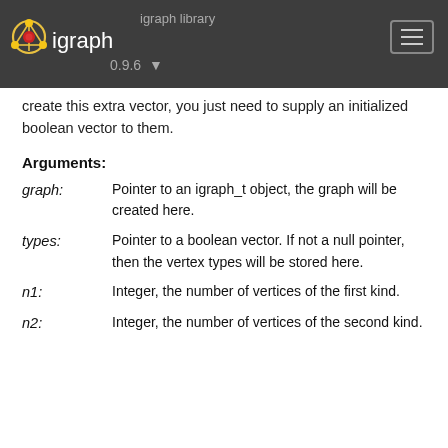igraph library | igraph | 0.9.6
create this extra vector, you just need to supply an initialized boolean vector to them.
Arguments:
graph: Pointer to an igraph_t object, the graph will be created here.
types: Pointer to a boolean vector. If not a null pointer, then the vertex types will be stored here.
n1: Integer, the number of vertices of the first kind.
n2: Integer, the number of vertices of the second kind.